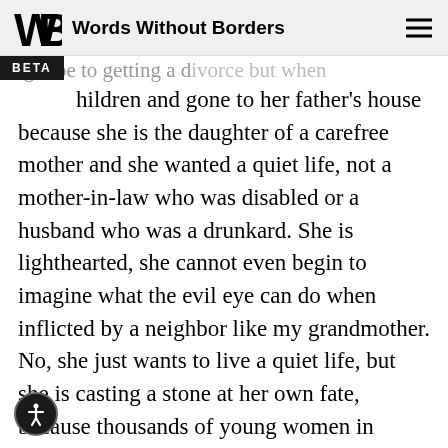Words Without Borders
children and gone to her father's house because she is the daughter of a carefree mother and she wanted a quiet life, not a mother-in-law who was disabled or a husband who was a drunkard. She is lighthearted, she cannot even begin to imagine what the evil eye can do when inflicted by a neighbor like my grandmother. No, she just wants to live a quiet life, but she is casting a stone at her own fate, because thousands of young women in thousands of homes are waiting for husbands, but she is a lady he took the man's children and left. Who doesn't want a quiet life? Her father was an idiot.